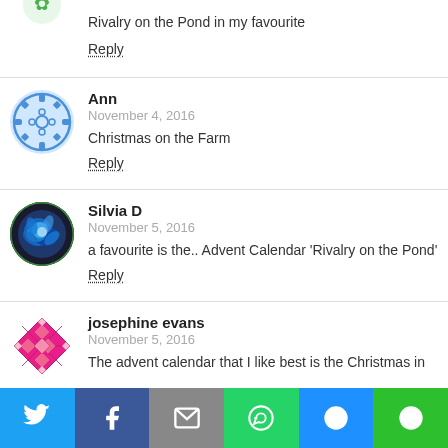Rivalry on the Pond in my favourite
Reply
Ann
November 4, 2016
Christmas on the Farm
Reply
Silvia D
November 5, 2016
a favourite is the.. Advent Calendar ‘Rivalry on the Pond’
Reply
josephine evans
November 5, 2016
The advent calendar that I like best is the Christmas in
[Figure (infographic): Social share bar with Twitter, Facebook, Email, WhatsApp, SMS, and More buttons]